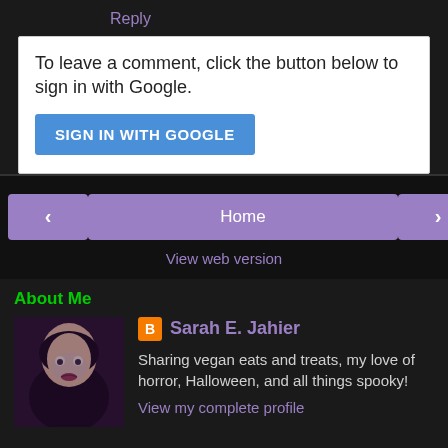Reply
To leave a comment, click the button below to sign in with Google.
SIGN IN WITH GOOGLE
<
Home
>
View web version
About Me
[Figure (photo): Profile photo of Sarah E. Jahier - woman with dark hair and pale skin]
Sarah E. Jahier
Sharing vegan eats and treats, my love of horror, Halloween, and all things spooky!
View my complete profile
Powered by Blogger.